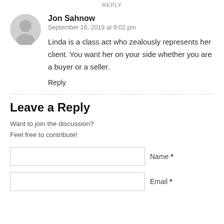REPLY
Jon Sahnow
September 16, 2019 at 9:02 pm
Linda is a class act who zealously represents her client. You want her on your side whether you are a buyer or a seller.
Reply
Leave a Reply
Want to join the discussion?
Feel free to contribute!
Name *
Email *